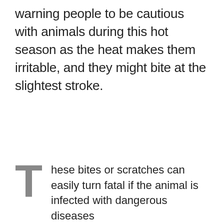warning people to be cautious with animals during this hot season as the heat makes them irritable, and they might bite at the slightest stroke.
These bites or scratches can easily turn fatal if the animal is infected with dangerous diseases